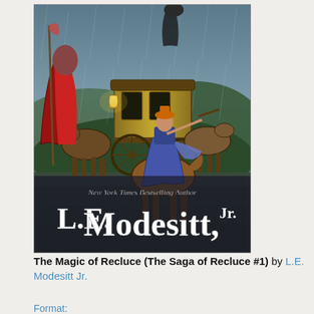[Figure (illustration): Book cover for 'The Magic of Recluce' showing a fantasy scene with a rider on horseback beside a horse-drawn carriage in rainy conditions. Text on cover reads 'New York Times Bestselling Author' and 'L.E. Modesitt, Jr.' in large white letters.]
The Magic of Recluce (The Saga of Recluce #1) by L.E. Modesitt Jr.